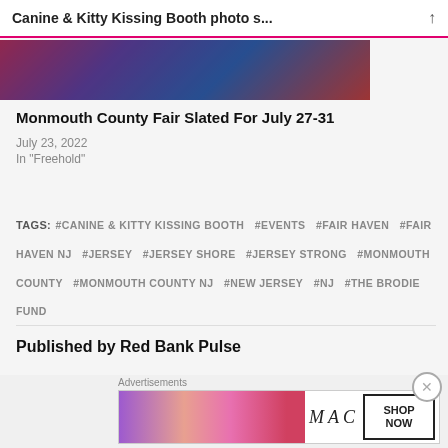Canine & Kitty Kissing Booth photo s...
[Figure (photo): Crowd photo at a fair event with colorful background]
Monmouth County Fair Slated For July 27-31
July 23, 2022
In "Freehold"
TAGS: #CANINE & KITTY KISSING BOOTH #EVENTS #FAIR HAVEN #FAIR HAVEN NJ #JERSEY #JERSEY SHORE #JERSEY STRONG #MONMOUTH COUNTY #MONMOUTH COUNTY NJ #NEW JERSEY #NJ #THE BRODIE FUND
Published by Red Bank Pulse
[Figure (photo): MAC cosmetics advertisement banner with lipsticks and SHOP NOW button]